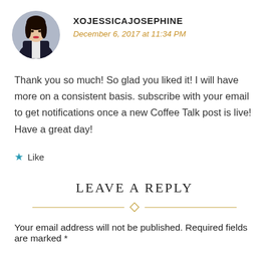[Figure (photo): Circular avatar photo of a woman with dark hair wearing a dark jacket]
XOJESSICAJOSEPHINE
December 6, 2017 at 11:34 PM
Thank you so much! So glad you liked it! I will have more on a consistent basis. subscribe with your email to get notifications once a new Coffee Talk post is live! Have a great day!
Like
REPLY
LEAVE A REPLY
Your email address will not be published. Required fields are marked *